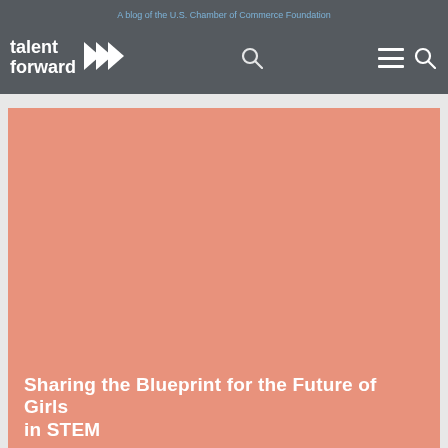A blog of the U.S. Chamber of Commerce Foundation
[Figure (logo): Talent Forward logo with white chevron arrows and white text reading 'talent forward']
[Figure (photo): Large salmon/coral pink colored hero image background]
Sharing the Blueprint for the Future of Girls in STEM